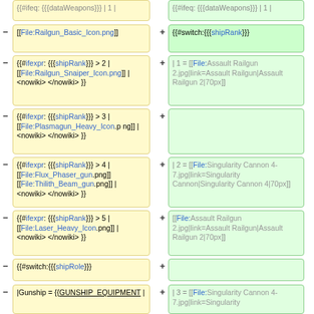{{#ifeq: {{{dataWeapons}}} | 1 |
{{#ifeq: {{{dataWeapons}}} | 1 |
[[File:Railgun_Basic_Icon.png]]
{{#switch:{{{shipRank}}}
{{#ifexpr: {{{shipRank}}} > 2 | [[File:Railgun_Snaiper_Icon.png]] | <nowiki> </nowiki> }}
| 1 = [[File:Assault Railgun 2.jpg|link=Assault Railgun|Assault Railgun 2|70px]]
{{#ifexpr: {{{shipRank}}} > 3 | [[File:Plasmagun_Heavy_Icon.png]] | <nowiki> </nowiki> }}
{{#ifexpr: {{{shipRank}}} > 4 | [[File:Flux_Phaser_gun.png]] [[File:Thilith_Beam_gun.png]] | <nowiki> </nowiki> }}
| 2 = [[File:Singularity Cannon 4-7.jpg|link=Singularity Cannon|Singularity Cannon 4|70px]]
{{#ifexpr: {{{shipRank}}} > 5 | [[File:Laser_Heavy_Icon.png]] | <nowiki> </nowiki> }}
[[File:Assault Railgun 2.jpg|link=Assault Railgun|Assault Railgun 2|70px]]
{{#switch:{{{shipRole}}}
|Gunship = {{GUNSHIP_EQUIPMENT |
| 3 = [[File:Singularity Cannon 4-7.jpg|link=Singularity